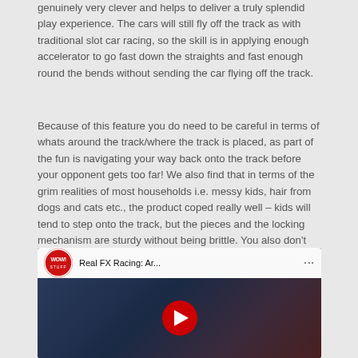genuinely very clever and helps to deliver a truly splendid play experience. The cars will still fly off the track as with traditional slot car racing, so the skill is in applying enough accelerator to go fast down the straights and fast enough round the bends without sending the car flying off the track.
Because of this feature you do need to be careful in terms of whats around the track/where the track is placed, as part of the fun is navigating your way back onto the track before your opponent gets too far! We also find that in terms of the grim realities of most households i.e. messy kids, hair from dogs and cats etc., the product coped really well – kids will tend to step onto the track, but the pieces and the locking mechanism are sturdy without being brittle. You also don't get the issue with the hard metal wires fluffing up/stopping working like on some slot car sets.
[Figure (screenshot): YouTube video thumbnail showing 'Real FX Racing: Ar...' with WowStuff logo, YouTube play button overlay, and racing car imagery in the background.]